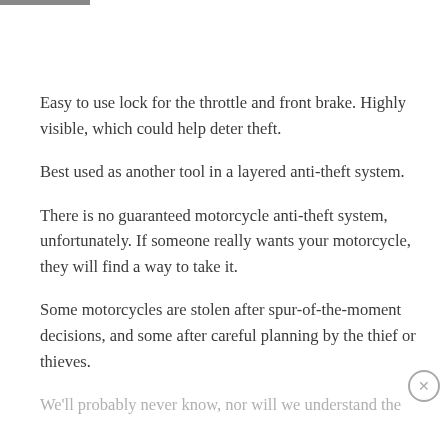Easy to use lock for the throttle and front brake. Highly visible, which could help deter theft.
Best used as another tool in a layered anti-theft system.
There is no guaranteed motorcycle anti-theft system, unfortunately. If someone really wants your motorcycle, they will find a way to take it.
Some motorcycles are stolen after spur-of-the-moment decisions, and some after careful planning by the thief or thieves.
We'll probably never know, nor will we understand the